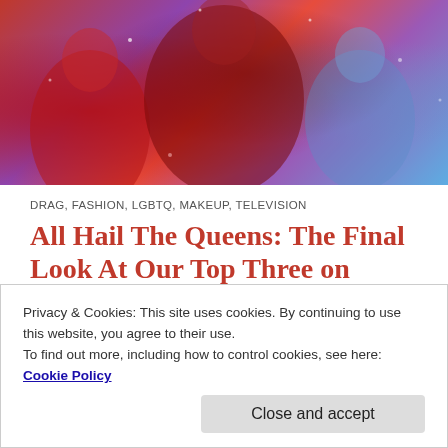[Figure (photo): Group of drag queens in colorful elaborate costumes against a purple/pink stage backdrop]
DRAG, FASHION, LGBTQ, MAKEUP, TELEVISION
All Hail The Queens: The Final Look At Our Top Three on RuPaul's Drag Race UK!
We have made it to our Top Three on RuPaul's Drag Race UK Season 1! I have really enjoyed this first
Privacy & Cookies: This site uses cookies. By continuing to use this website, you agree to their use.
To find out more, including how to control cookies, see here: Cookie Policy
NOVEMBER 21, 2019 / LEAVE A COMMENT